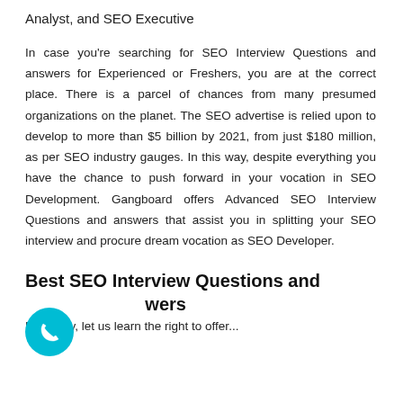Analyst, and SEO Executive
In case you're searching for SEO Interview Questions and answers for Experienced or Freshers, you are at the correct place. There is a parcel of chances from many presumed organizations on the planet. The SEO advertise is relied upon to develop to more than $5 billion by 2021, from just $180 million, as per SEO industry gauges. In this way, despite everything you have the chance to push forward in your vocation in SEO Development. Gangboard offers Advanced SEO Interview Questions and answers that assist you in splitting your SEO interview and procure dream vocation as SEO Developer.
Best SEO Interview Questions and Answers
Presently, let us learn the right to offer...